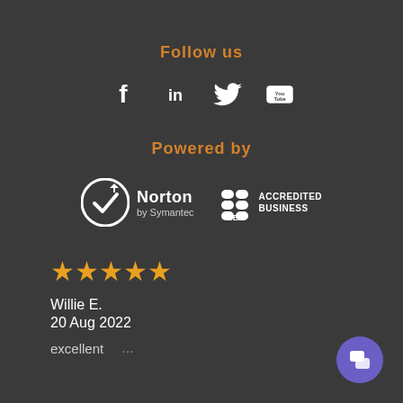Follow us
[Figure (illustration): Social media icons: Facebook (f), LinkedIn (in), Twitter bird, YouTube (You Tube)]
Powered by
[Figure (logo): Norton by Symantec logo with checkmark circle]
[Figure (logo): BBB Accredited Business logo]
[Figure (illustration): Five orange star rating]
Willie E.
20 Aug 2022
excellent
[Figure (illustration): Purple chat button icon in bottom right corner]